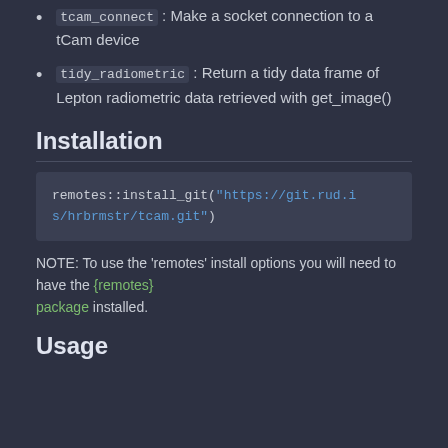tcam_connect : Make a socket connection to a tCam device
tidy_radiometric : Return a tidy data frame of Lepton radiometric data retrieved with get_image()
Installation
remotes::install_git("https://git.rud.is/hrbrmstr/tcam.git")
NOTE: To use the 'remotes' install options you will need to have the {remotes} package installed.
Usage